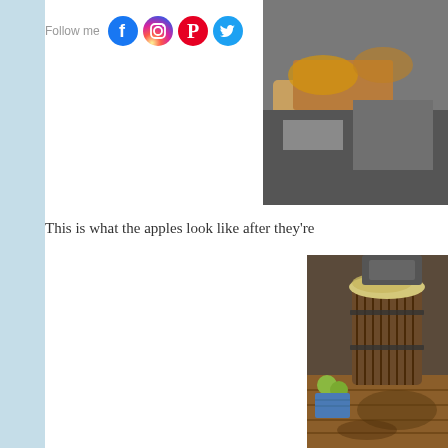[Figure (photo): Social media follow bar with Facebook, Instagram, Pinterest, and Twitter icons, with a partial food/baking photo in the upper right corner]
This is what the apples look like after they're
[Figure (photo): Apple cider press with wooden barrel press container full of crushed apples, wooden tray below catching juice, green apples visible in blue crate in background]